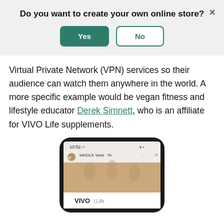Do you want to create your own online store?
Virtual Private Network (VPN) services so their audience can watch them anywhere in the world. A more specific example would be vegan fitness and lifestyle educator Derek Simnett, who is an affiliate for VIVO Life supplements.
[Figure (screenshot): Bottom portion of a phone screen showing VIVO Life branding and a YouTube video from WHOLE Vivid channel]